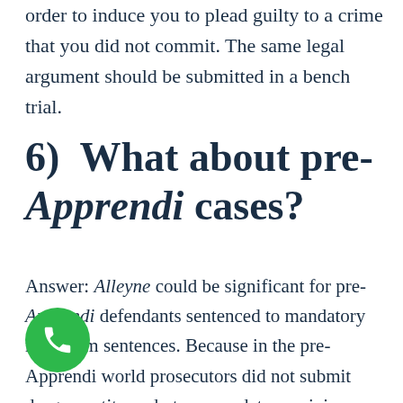order to induce you to plead guilty to a crime that you did not commit. The same legal argument should be submitted in a bench trial.
6)  What about pre-Apprendi cases?
Answer: Alleyne could be significant for pre-Apprendi defendants sentenced to mandatory minimum sentences. Because in the pre-Apprendi world prosecutors did not submit drug quantity and other mandatory-minimum triggering facts to juries in special verdict forms to support mandatory minimum sentences. Thus, those defendants are